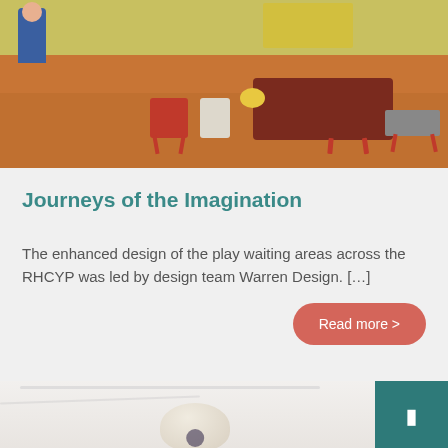[Figure (illustration): Colorful illustrated play waiting area with furniture including a dark red sofa, red chairs, a tote bag, yellow accents on the wall, and a person figure on the left. Warm orange/brown flooring.]
Journeys of the Imagination
The enhanced design of the play waiting areas across the RHCYP was led by design team Warren Design. […]
Read more >
[Figure (photo): Partial photo of a ceramic or clay object on a white marble surface, visible at the bottom of the page.]